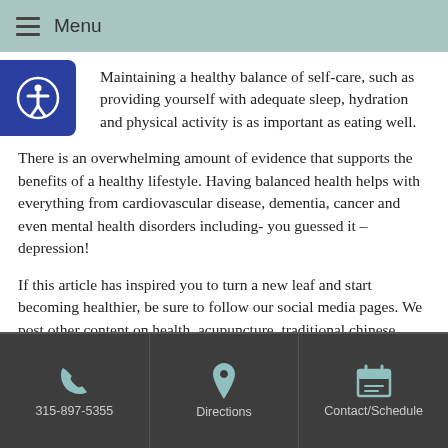Menu
Maintaining a healthy balance of self-care, such as providing yourself with adequate sleep, hydration and physical activity is as important as eating well.
There is an overwhelming amount of evidence that supports the benefits of a healthy lifestyle. Having balanced health helps with everything from cardiovascular disease, dementia, cancer and even mental health disorders including- you guessed it – depression!
If this article has inspired you to turn a new leaf and start becoming healthier, be sure to follow our social media pages. We post other content on health, acupuncture, traditional chinese medicine and so on that can help you keep your life on track.
315-897-5355 | Directions | Contact/Schedule